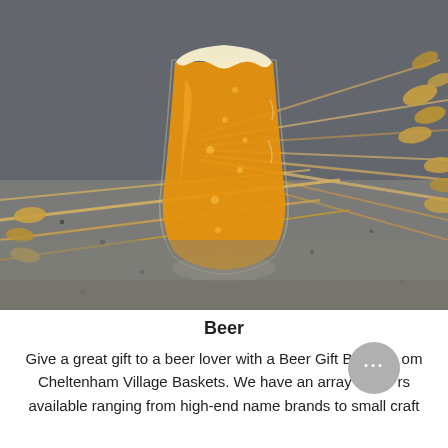[Figure (photo): A tall pint glass filled with golden amber beer, surrounded by dried wheat stalks and barley on a gray speckled surface.]
Beer
Give a great gift to a beer lover with a Beer Gift Basket from Cheltenham Village Baskets. We have an array of beers available ranging from high-end name brands to small craft